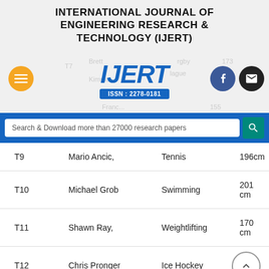INTERNATIONAL JOURNAL OF ENGINEERING RESEARCH & TECHNOLOGY (IJERT)
[Figure (logo): IJERT logo with ISSN: 2278-0181, menu button, Facebook and email icon buttons, ghost navigation text]
Search & Download more than 27000 research papers
| ID | Name | Sport | Height |
| --- | --- | --- | --- |
| T9 | Mario Ancic, | Tennis | 196cm |
| T10 | Michael Grob | Swimming | 201 cm |
| T11 | Shawn Ray, | Weightlifting | 170 cm |
| T12 | Chris Pronger | Ice Hockey | 180 cm |